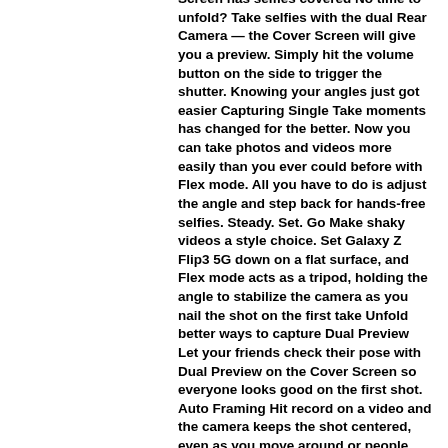Screen has selfies covered No time to unfold? Take selfies with the dual Rear Camera — the Cover Screen will give you a preview. Simply hit the volume button on the side to trigger the shutter. Knowing your angles just got easier Capturing Single Take moments has changed for the better. Now you can take photos and videos more easily than you ever could before with Flex mode. All you have to do is adjust the angle and step back for hands-free selfies. Steady. Set. Go Make shaky videos a style choice. Set Galaxy Z Flip3 5G down on a flat surface, and Flex mode acts as a tripod, holding the angle to stabilize the camera as you nail the shot on the first take Unfold better ways to capture Dual Preview Let your friends check their pose with Dual Preview on the Cover Screen so everyone looks good on the first shot. Auto Framing Hit record on a video and the camera keeps the shot centered, even as you move around or people move in and out of view. You. At